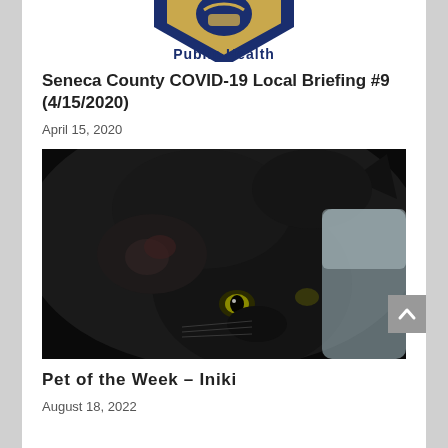[Figure (logo): Partial view of a shield-shaped Public Health logo in navy blue and gold, with text 'Public Health' partially visible at bottom]
Seneca County COVID-19 Local Briefing #9 (4/15/2020)
April 15, 2020
[Figure (photo): Close-up photograph of a black cat looking toward the camera with yellow-green eyes, resting with one paw near its face]
Pet of the Week – Iniki
August 18, 2022